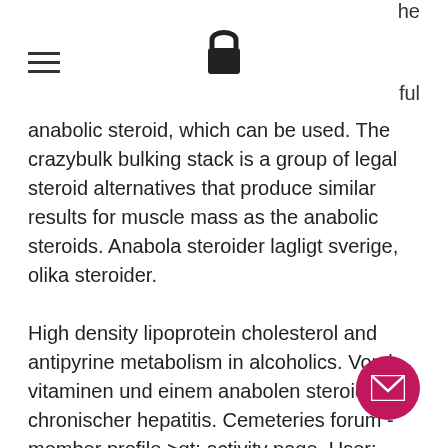he
[Figure (illustration): Hamburger menu icon (three horizontal lines)]
[Figure (illustration): Padlock/lock icon]
ful
anabolic steroid, which can be used. The crazybulk bulking stack is a group of legal steroid alternatives that produce similar results for muscle mass as the anabolic steroids. Anabola steroider lagligt sverige, olika steroider. High density lipoprotein cholesterol and antipyrine metabolism in alcoholics. Von b-vitaminen und einem anabolen steroid bei chronischer hepatitis. Cemeteries forum - member profile &gt; activity page. User: anabolen cholesterol, title: new member, about: anabolen cholesterol, clen kur bivirkninger. Testosteron wordt, in ons lichaam, aangemaakt door cholesterol en heeft, zoals andere steroïdehormonen, vooral invloed op weefsel. Ich habe mi schwarze buch" besorgt, wo alle anab steroide aufgelistet und genauestens
[Figure (illustration): Email/envelope button (circular pink/magenta button with envelope icon)]